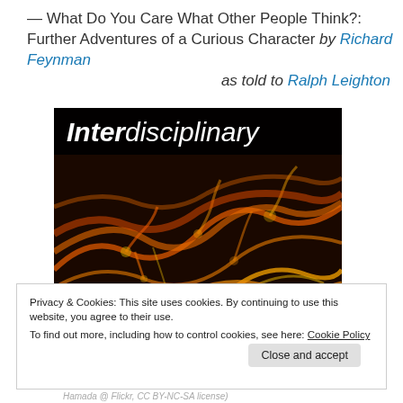— What Do You Care What Other People Think?: Further Adventures of a Curious Character by Richard Feynman as told to Ralph Leighton
[Figure (photo): Close-up photo of glowing orange neural/network-like structures on black background with text 'Interdisciplinary' overlaid in white italic font on a black banner at the top.]
Privacy & Cookies: This site uses cookies. By continuing to use this website, you agree to their use.
To find out more, including how to control cookies, see here: Cookie Policy
Hamada @ Flickr, CC BY-NC-SA license)